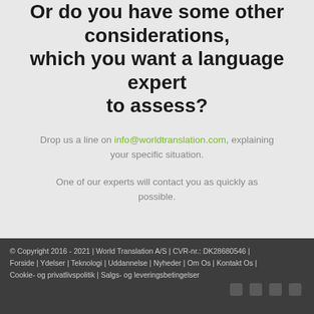Or do you have some other considerations, which you want a language expert to assess?
Drop us a line on info@worldtranslation.com, explaining your specific situation.
One of our experts will contact you as quickly as possible.
© Copyright 2016 - 2021 | World Translation A/S | CVR-nr.: DK28680546 | Forside | Ydelser | Teknologi | Uddannelse | Nyheder | Om Os | Kontakt Os | Cookie- og privatlivspolitik | Salgs- og leveringsbetingelser